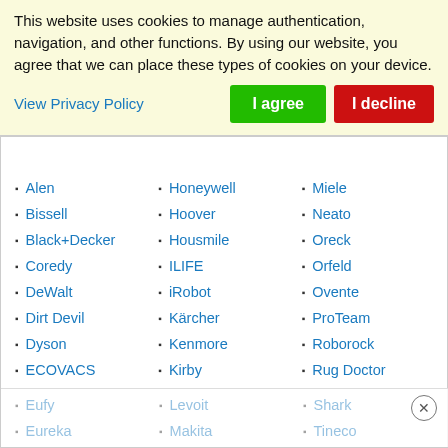This website uses cookies to manage authentication, navigation, and other functions. By using our website, you agree that we can place these types of cookies on your device.
View Privacy Policy
I agree
I decline
Alen
Honeywell
Miele
Bissell
Hoover
Neato
Black+Decker
Housmile
Oreck
Coredy
ILIFE
Orfeld
DeWalt
iRobot
Ovente
Dirt Devil
Kärcher
ProTeam
Dyson
Kenmore
Roborock
ECOVACS
Kirby
Rug Doctor
Eufy
Levoit
Shark
Eureka
Makita
Tineco